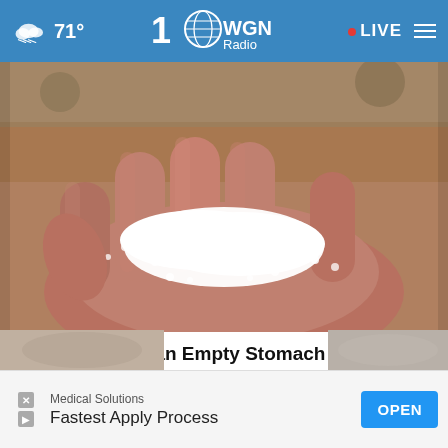71° WGN Radio • LIVE
[Figure (photo): A hand with open palm holding white granular salt or crystals, sandy ground in background]
A Teaspoon on an Empty Stomach Drops Body Weight Like Crazy!
Trending New Finds
[Figure (infographic): Advertisement banner: Medical Solutions - Fastest Apply Process - OPEN button]